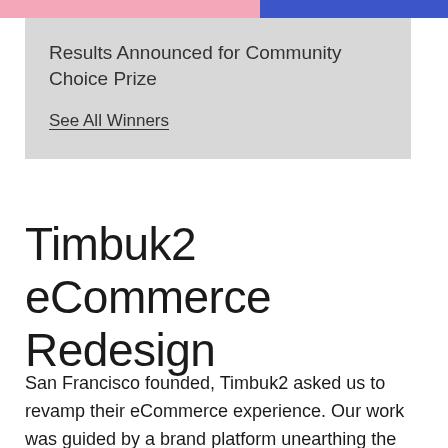[Figure (photo): Top banner with pink/photo strip on left and dark blue strip on right]
Results Announced for Community Choice Prize
See All Winners
Timbuk2 eCommerce Redesign
San Francisco founded, Timbuk2 asked us to revamp their eCommerce experience. Our work was guided by a brand platform unearthing the essence the beloved urban lifestyle brand — cutting-edge technology,